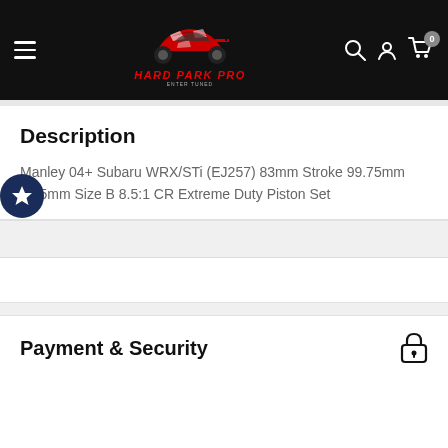[Figure (screenshot): Hard Park Pro website header with navigation bar. Black background with hamburger menu on left, car logo in center, and search/user/cart icons on right. Logo shows a red and white sports car with 'HARD PARK PRO' text below.]
Description
Manley 04+ Subaru WRX/STi (EJ257) 83mm Stroke 99.75mm ?5mm Size B 8.5:1 CR Extreme Duty Piston Set
Payment & Security